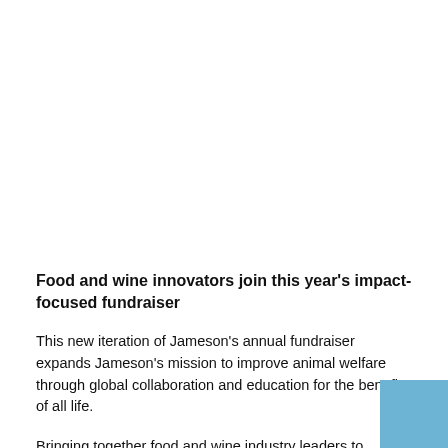Food and wine innovators join this year's impact-focused fundraiser
This new iteration of Jameson's annual fundraiser expands Jameson's mission to improve animal welfare through global collaboration and education for the benefit of all life.
Bringing together food and wine industry leaders to discuss